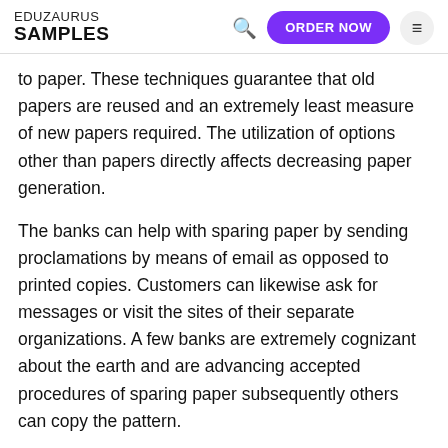EDUZAURUS SAMPLES
to paper. These techniques guarantee that old papers are reused and an extremely least measure of new papers required. The utilization of options other than papers directly affects decreasing paper generation.
The banks can help with sparing paper by sending proclamations by means of email as opposed to printed copies. Customers can likewise ask for messages or visit the sites of their separate organizations. A few banks are extremely cognizant about the earth and are advancing accepted procedures of sparing paper subsequently others can copy the pattern.
Our homes can help with sparing paper by receiving reusable napkins as opposed to the paper towels. Residential tasks are among the regions where papers are generally